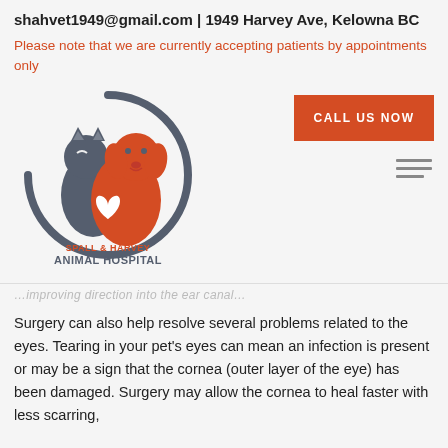shahvet1949@gmail.com | 1949 Harvey Ave, Kelowna BC
Please note that we are currently accepting patients by appointments only
[Figure (logo): Spall & Harvey Animal Hospital logo — stylized cat and dog inside a circle, with text 'SPALL & HARVEY ANIMAL HOSPITAL' below]
CALL US NOW
…improving direction into the ear canal…
Surgery can also help resolve several problems related to the eyes. Tearing in your pet's eyes can mean an infection is present or may be a sign that the cornea (outer layer of the eye) has been damaged. Surgery may allow the cornea to heal faster with less scarring,